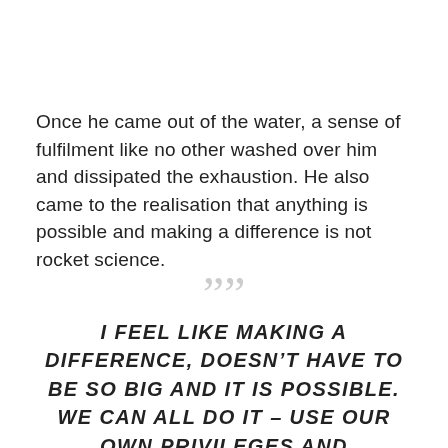Once he came out of the water, a sense of fulfilment like no other washed over him and dissipated the exhaustion. He also came to the realisation that anything is possible and making a difference is not rocket science.
””
I FEEL LIKE MAKING A DIFFERENCE, DOESN’T HAVE TO BE SO BIG AND IT IS POSSIBLE. WE CAN ALL DO IT – USE OUR OWN PRIVILEGES AND STRENGTHS, YOU KNOW – IN MY CASE MAYBE IT WAS MY ABILITY TO SWIM THAT ACTUALLY